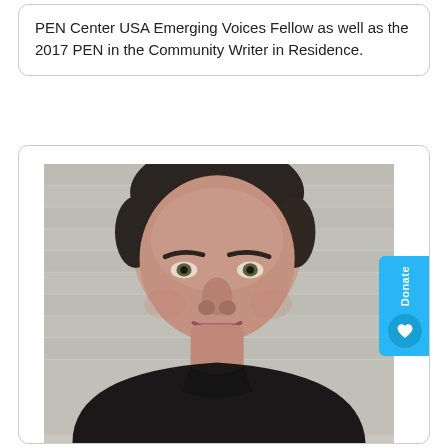PEN Center USA Emerging Voices Fellow as well as the 2017 PEN in the Community Writer in Residence.
[Figure (photo): Headshot of a middle-aged man with dark hair, wearing a black shirt, photographed against a grey slatted background. A blue 'Donate' button with a heart icon is visible on the right side.]